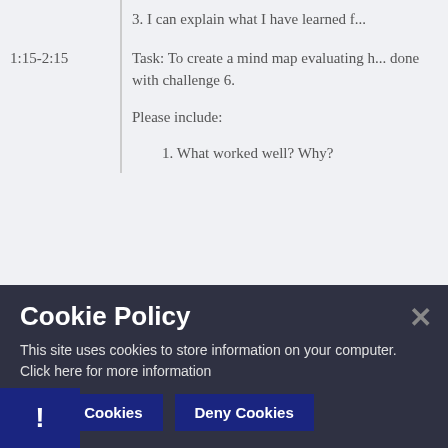| Time | Content |
| --- | --- |
|  | 3. I can explain what I have learned f... |
| 1:15-2:15 | Task: To create a mind map evaluating h... done with challenge 6.

Please include:

1. What worked well? Why?
2. What changes I'd make if...
3. I can explain what I have learned f... |
Cookie Policy
This site uses cookies to store information on your computer. Click here for more information
Allow Cookies
Deny Cookies